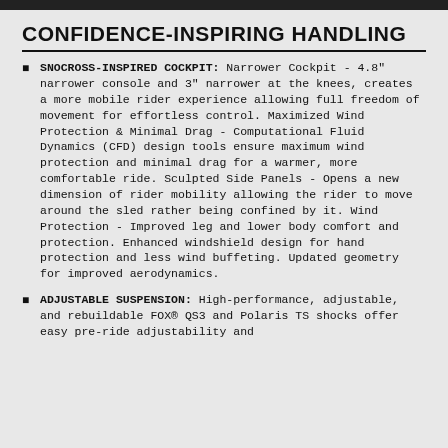CONFIDENCE-INSPIRING HANDLING
SNOCROSS-INSPIRED COCKPIT: Narrower Cockpit - 4.8" narrower console and 3" narrower at the knees, creates a more mobile rider experience allowing full freedom of movement for effortless control. Maximized Wind Protection & Minimal Drag - Computational Fluid Dynamics (CFD) design tools ensure maximum wind protection and minimal drag for a warmer, more comfortable ride. Sculpted Side Panels - Opens a new dimension of rider mobility allowing the rider to move around the sled rather being confined by it. Wind Protection - Improved leg and lower body comfort and protection. Enhanced windshield design for hand protection and less wind buffeting. Updated geometry for improved aerodynamics.
ADJUSTABLE SUSPENSION: High-performance, adjustable, and rebuildable FOX® QS3 and Polaris TS shocks offer easy pre-ride adjustability and